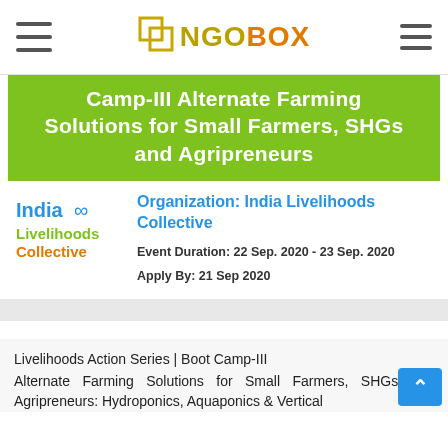NGOBOX
Camp-III Alternate Farming Solutions for Small Farmers, SHGs and Agripreneurs
[Figure (logo): India Livelihoods Collective logo]
Organization: India Livelihoods Collective
Event Duration: 22 Sep. 2020 - 23 Sep. 2020
Apply By: 21 Sep 2020
Livelihoods Action Series | Boot Camp-III
Alternate Farming Solutions for Small Farmers, SHGs and Agripreneurs: Hydroponics, Aquaponics & Vertical